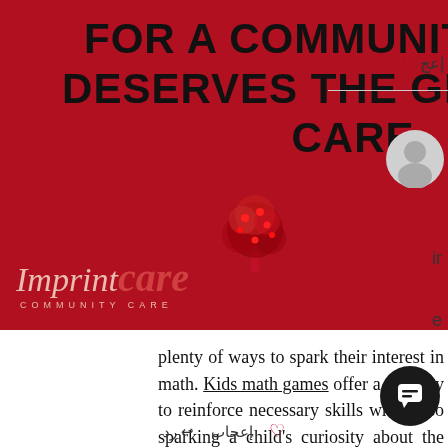FOR A COMMUNITY THAT DESERVES THE GREATEST CARE
[Figure (logo): Imprint Care Community Care logo with script text and tree icon on red background]
plenty of ways to spark their interest in math. Kids math games offer a fun way to reinforce necessary skills while also sparking a child's curiosity about the subject. Elementary mathematics lessons tend to focus on memorizing rote facts and learning the basics of measurement, tallying, matching, and money. Online math games help kids learn about numbers, recognition, and problem-solving while also encouraging prog